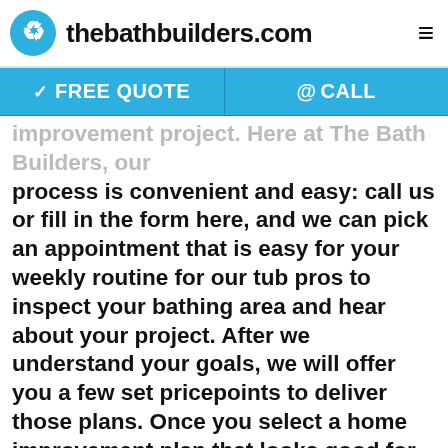thebathbuilders.com
✓ FREE QUOTE   @CALL
improvement project. Here at The Bath Builders, our process is convenient and easy: call us or fill in the form here, and we can pick an appointment that is easy for your weekly routine for our tub pros to inspect your bathing area and hear about your project. After we understand your goals, we will offer you a few set pricepoints to deliver those plans. Once you select a home improvement plan that looks good for you, our installers will quickly finish your walk-in bathtub installation. The process actually is that easy!